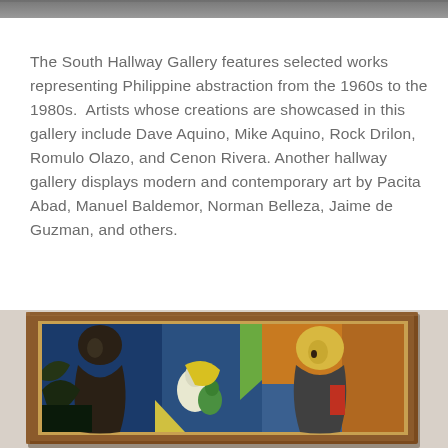[Figure (photo): Top partial photo strip — gray/dark toned image, appears to be a cropped portion of a hallway or gallery interior.]
The South Hallway Gallery features selected works representing Philippine abstraction from the 1960s to the 1980s.  Artists whose creations are showcased in this gallery include Dave Aquino, Mike Aquino, Rock Drilon, Romulo Olazo, and Cenon Rivera. Another hallway gallery displays modern and contemporary art by Pacita Abad, Manuel Baldemor, Norman Belleza, Jaime de Guzman, and others.
[Figure (photo): Photo of a framed painting displayed in a gallery. The painting shows an abstract/cubist-style composition with two figures and colorful geometric forms in blues, greens, yellows, and oranges. The frame is dark wood with a gold inner trim.]